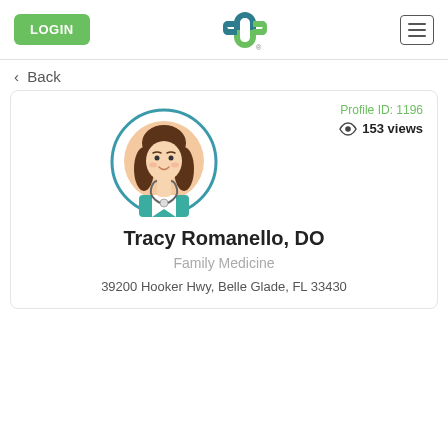LOGIN | [logo] | [menu]
< Back
Profile ID: 1196
153 views
[Figure (illustration): Circular avatar illustration of a female doctor with brown hair wearing a teal medical coat and stethoscope]
Tracy Romanello, DO
Family Medicine
39200 Hooker Hwy, Belle Glade, FL 33430